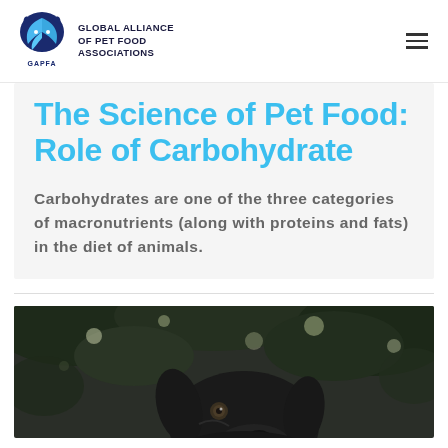GLOBAL ALLIANCE OF PET FOOD ASSOCIATIONS
The Science of Pet Food: Role of Carbohydrate
Carbohydrates are one of the three categories of macronutrients (along with proteins and fats) in the diet of animals.
[Figure (photo): Close-up photo of a dark-colored dog outdoors with blurred tree foliage in the background]